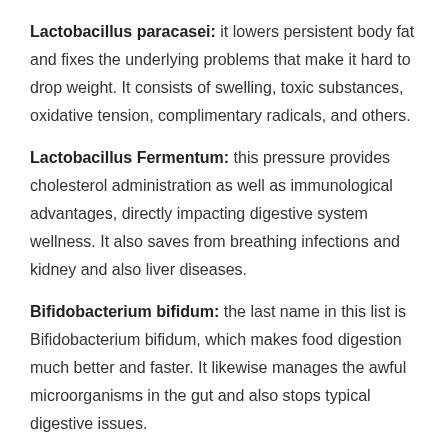Lactobacillus paracasei: it lowers persistent body fat and fixes the underlying problems that make it hard to drop weight. It consists of swelling, toxic substances, oxidative tension, complimentary radicals, and others.
Lactobacillus Fermentum: this pressure provides cholesterol administration as well as immunological advantages, directly impacting digestive system wellness. It also saves from breathing infections and kidney and also liver diseases.
Bifidobacterium bifidum: the last name in this list is Bifidobacterium bifidum, which makes food digestion much better and faster. It likewise manages the awful microorganisms in the gut and also stops typical digestive issues.
Inulin: This ingredient is prebiotic, which controls bowel movements as well as aids in food digestion. Without inulin, troubles such as unwanted gas, bowel irregularity, and also acidity